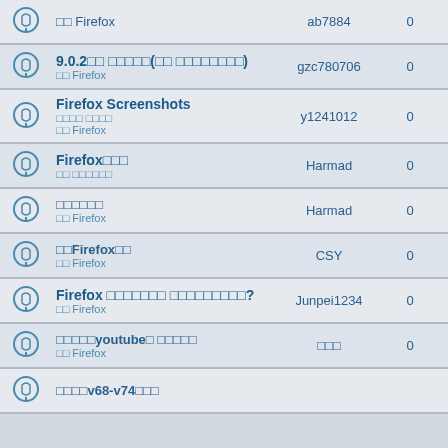|  | Title | User | Replies | Views |
| --- | --- | --- | --- | --- |
| 🔔 | oo Firefox / co7837 / 0 / 2338 | co7837 | 0 | 2338 |
| 🔔 | 9.0.2□□ □□□□□(□□ □□□□□□□□) / □□ Firefox | gzc780706 | 0 | 17032 |
| 🔔 | Firefox Screenshots / □□□□ □□□□ / □□ Firefox | y1241012 | 0 | 16348 |
| 🔔 | Firefox□□□ / □□ □□□□□□ | Harmad | 0 | 20162 |
| 🔔 | □□□□□□ / □□ Firefox | Harmad | 0 | 17655 |
| 🔔 | □□Firefox□□ / □□ Firefox | CSY | 0 | 17795 |
| 🔔 | Firefox □□□□□□□ □□□□□□□□□? / □□ Firefox | Junpei1234 | 0 | 17909 |
| 🔔 | □□□□□youtube□ □□□□□ / □□ Firefox | □□□ | 0 | 19137 |
| 🔔 | □□□□v68-v74□□□ |  |  |  |